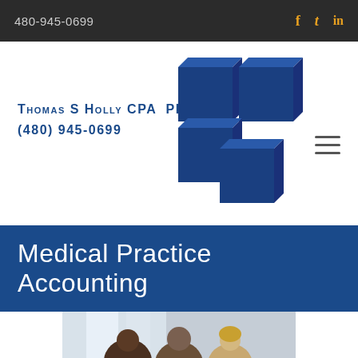480-945-0699
[Figure (logo): Thomas S Holly CPA PLLC logo with blue 3D plus/cross shape and company name and phone number (480) 945-0699]
Medical Practice Accounting
[Figure (photo): Photo of three business professionals (two men and a woman) looking at documents together in an office setting]